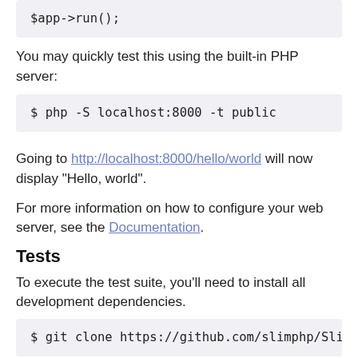$app->run();
You may quickly test this using the built-in PHP server:
$ php -S localhost:8000 -t public
Going to http://localhost:8000/hello/world will now display "Hello, world".
For more information on how to configure your web server, see the Documentation.
Tests
To execute the test suite, you'll need to install all development dependencies.
$ git clone https://github.com/slimphp/Slim